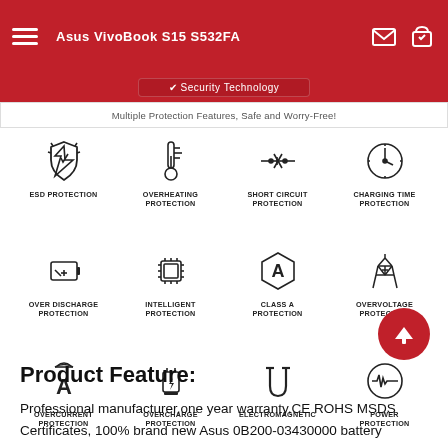Asus VivoBook S15 S532FA
Security Technology
Multiple Protection Features, Safe and Worry-Free!
[Figure (infographic): Grid of 12 protection feature icons with labels: ESD Protection, Overheating Protection, Short Circuit Protection, Charging Time Protection, Over Discharge Protection, Intelligent Protection, Class A Protection, Overvoltage Protection, Overcurrent Protection, Overcharge Protection, Electromagnetic, Power Protection]
Product Feature:
Professional manufacturer,one year warranty,CE ROHS MSDS Certificates, 100% brand new Asus 0B200-03430000 battery